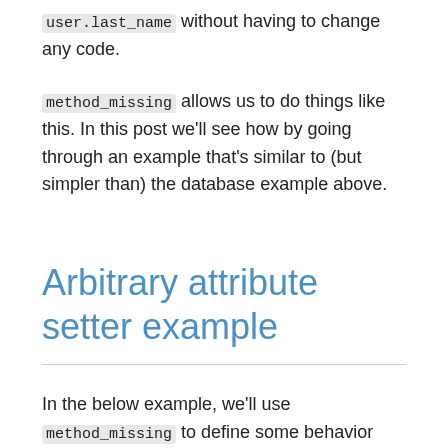user.last_name without having to change any code.
method_missing allows us to do things like this. In this post we'll see how by going through an example that's similar to (but simpler than) the database example above.
Arbitrary attribute setter example
In the below example, we'll use method_missing to define some behavior that allows us to arbitrarily